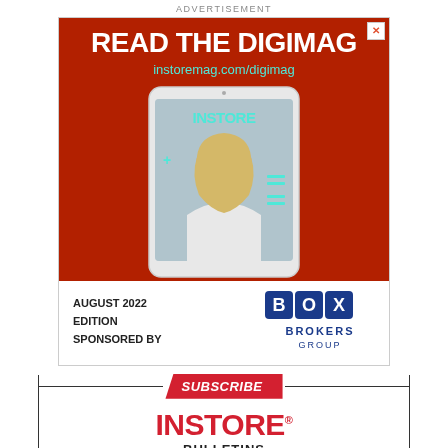ADVERTISEMENT
[Figure (illustration): Advertisement for INSTORE Digimag - red background with tablet showing INSTORE magazine cover featuring a young blonde woman, text says READ THE DIGIMAG instoremag.com/digimag, August 2022 Edition Sponsored by Box Brokers Group]
SUBSCRIBE
INSTORE BULLETINS
INSTORE helps you become a better jeweler with the biggest daily news headlines and useful tips